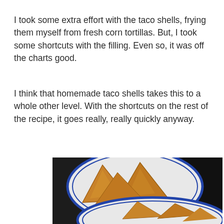I took some extra effort with the taco shells, frying them myself from fresh corn tortillas. But, I took some shortcuts with the filling. Even so, it was off the charts good.
I think that homemade taco shells takes this to a whole other level. With the shortcuts on the rest of the recipe, it goes really, really quickly anyway.
[Figure (photo): Two white plates with blue rims containing golden fried taco shells, placed on a dark stovetop surface.]